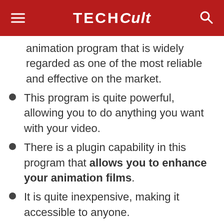TECHCult
animation program that is widely regarded as one of the most reliable and effective on the market.
This program is quite powerful, allowing you to do anything you want with your video.
There is a plugin capability in this program that allows you to enhance your animation films.
It is quite inexpensive, making it accessible to anyone.
360 VR animations may be exported.
You may use this tool to make advertising